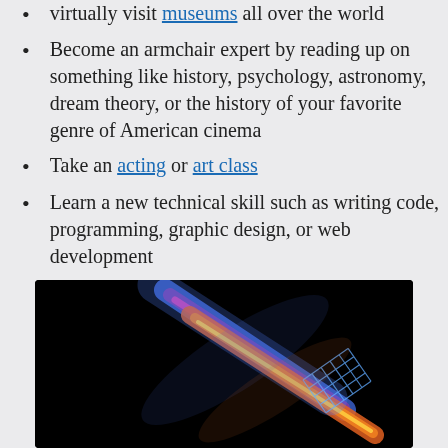virtually visit museums all over the world
Become an armchair expert by reading up on something like history, psychology, astronomy, dream theory, or the history of your favorite genre of American cinema
Take an acting or art class
Learn a new technical skill such as writing code, programming, graphic design, or web development
[Figure (photo): A colorful light streak photograph against a black background, showing a diagonal beam of blue, purple, pink, orange and red light with a grid-like geometric pattern at the tip, resembling a prism or artistic light show.]